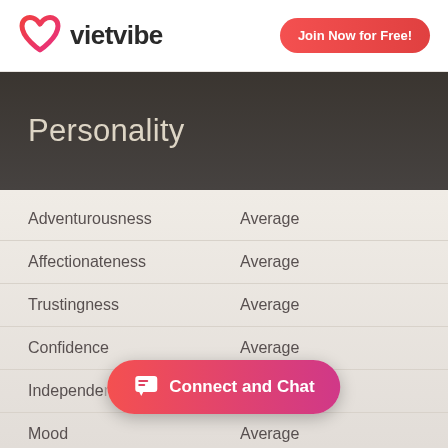[Figure (logo): VietVibe heart logo with gradient red/pink colors]
vietvibe
Join Now for Free!
Personality
| Trait | Rating |
| --- | --- |
| Adventurousness | Average |
| Affectionateness | Average |
| Trustingness | Average |
| Confidence | Average |
| Independence | Average |
| Mood | Average |
Connect and Chat